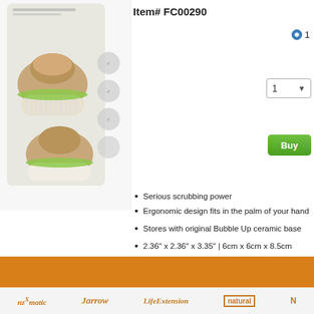Item# FC00290
[Figure (photo): Product photo of a palm-sized dish scrubbing brush with bamboo/wood handle top and white bristles, shown with its packaging and ceramic base accessory]
Serious scrubbing power
Ergonomic design fits in the palm of your hand
Stores with original Bubble Up ceramic base
2.36" x 2.36" x 3.35" | 6cm x 6cm x 8.5cm
tions
dients
[Figure (illustration): Orange footer bar with brand logos including anz-Xmatic, Jarrow, Life Extension, and Natural logos on a light background strip]